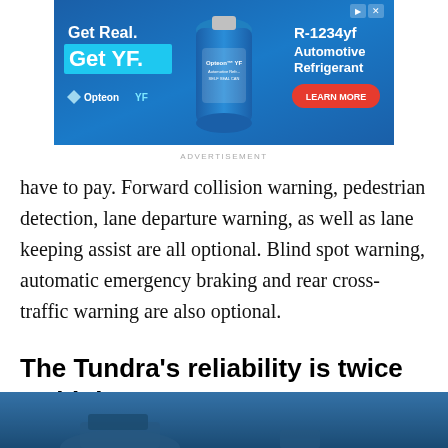[Figure (other): Advertisement banner for Opteon YF automotive refrigerant (R-1234yf) featuring blue background with product bottle, 'Get Real. Get YF.' text, and Learn More button]
ADVERTISEMENT
have to pay. Forward collision warning, pedestrian detection, lane departure warning, as well as lane keeping assist are all optional. Blind spot warning, automatic emergency braking and rear cross-traffic warning are also optional.
The Tundra’s reliability is twice as high
[Figure (photo): Partial view of a vehicle photo with blue/grey background, cut off at bottom of page]